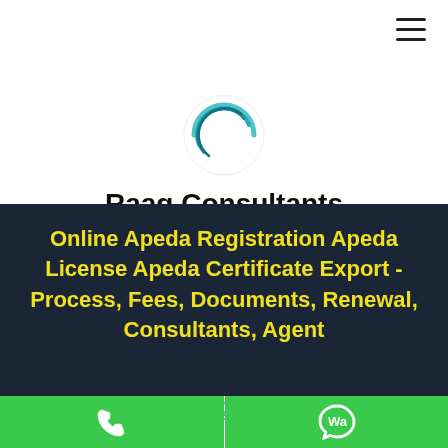[Figure (logo): Circular blue swoosh logo for Raag Consultants]
Raag Consultants
Solution of all worries at one plateform...
[Figure (infographic): Row of social media icons: Facebook, Twitter, LinkedIn, Instagram, YouTube, Pinterest]
+91 8800463370
+91 11 40043213
Online Apeda Registration Apeda License Apeda Certificate Export - Process, Fees, Documents, Renewal, Consultants, Agent